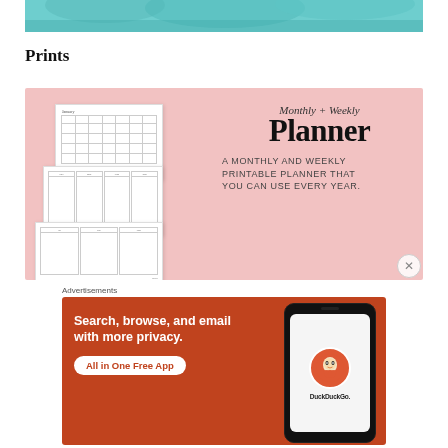[Figure (photo): Pool/water photo cropped at top of page]
Prints
[Figure (infographic): Pink background ad for Monthly + Weekly Planner printable. Shows planner pages on left and text: Monthly + Weekly Planner - A MONTHLY AND WEEKLY PRINTABLE PLANNER THAT YOU CAN USE EVERY YEAR.]
Advertisements
[Figure (infographic): DuckDuckGo advertisement on orange-red background: Search, browse, and email with more privacy. All in One Free App. Shows phone with DuckDuckGo logo.]